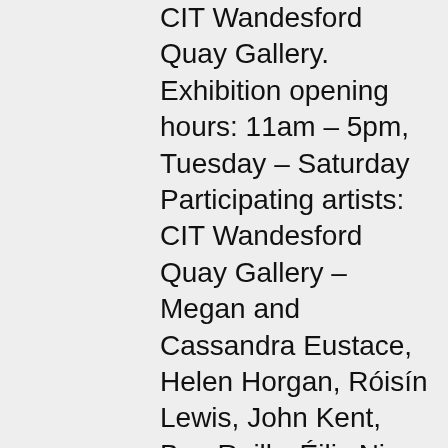CIT Wandesford Quay Gallery. Exhibition opening hours: 11am – 5pm, Tuesday – Saturday Participating artists: CIT Wandesford Quay Gallery – Megan and Cassandra Eustace, Helen Horgan, Róisín Lewis, John Kent, Ben Reilly, Éilis Ni Fhaoláin, Luke Sisk Elizabeth Fort – Johnny Bugler, Angie Shanahan, Tracy White Fitzgerald, Elaine Coakley, Gerard O'Callaghan, Jo Kelley, Peter Martin, Helen O'Keeffe, Angela Gilmour, Darn Thorn, Sean Hanrahan There is an ambiguity about the word 'elsewhere' – it suggests somewhere else but nowhere in particular; a place as yet unknown or a place that no longer exists. It can also suggest an absence of something…